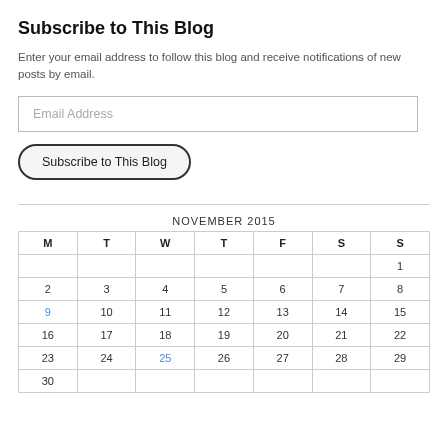Subscribe to This Blog
Enter your email address to follow this blog and receive notifications of new posts by email.
[Figure (other): Email Address input field (text box)]
[Figure (other): Subscribe to This Blog button (rounded rectangle button)]
| M | T | W | T | F | S | S |
| --- | --- | --- | --- | --- | --- | --- |
|  |  |  |  |  |  | 1 |
| 2 | 3 | 4 | 5 | 6 | 7 | 8 |
| 9 | 10 | 11 | 12 | 13 | 14 | 15 |
| 16 | 17 | 18 | 19 | 20 | 21 | 22 |
| 23 | 24 | 25 | 26 | 27 | 28 | 29 |
| 30 |  |  |  |  |  |  |